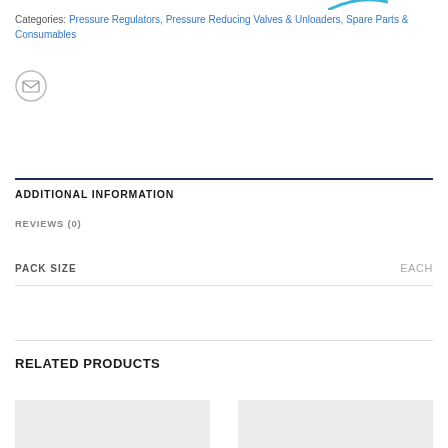Categories: Pressure Regulators, Pressure Reducing Valves & Unloaders, Spare Parts & Consumables
[Figure (illustration): Email/envelope icon inside a light grey circle]
ADDITIONAL INFORMATION
REVIEWS (0)
| PACK SIZE |  |
| --- | --- |
| PACK SIZE | EACH |
RELATED PRODUCTS
[Figure (photo): Related product thumbnail placeholder (left)]
[Figure (photo): Related product thumbnail placeholder (right)]